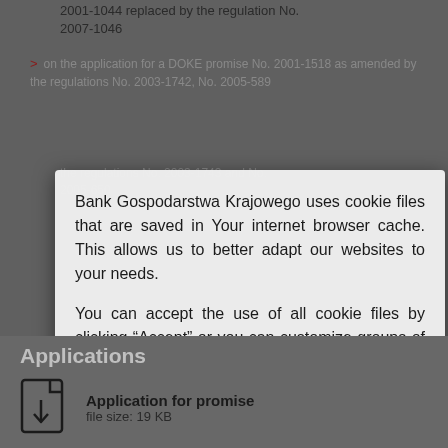2001-1044 replaced by the regulation No. 2007-1046
on the application for a DOKE promise No. 2001-1518 as amended by the regulations No. 2003-1742, No. 2005-589 and No. 1995 No. ... the regulations No. 2003-1743 and No. 2005-650
on costs of funding, short-term market ... No. 2003-1762
regulation of the Minister of Economy on the maximum foreign content No. 2014-1978
Bank Gospodarstwa Krajowego uses cookie files that are saved in Your internet browser cache. This allows us to better adapt our websites to your needs.
You can accept the use of all cookie files by clicking "Accept" or you can customize groups of cookie files that can be used by clicking "Settings".
Settings
Accept
Applications
Application for promise
file size: 19 KB